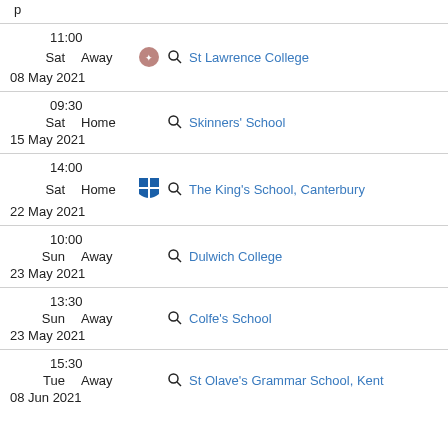11:00 Sat Away St Lawrence College 08 May 2021
09:30 Sat Home Skinners' School 15 May 2021
14:00 Sat Home The King's School, Canterbury 22 May 2021
10:00 Sun Away Dulwich College 23 May 2021
13:30 Sun Away Colfe's School 23 May 2021
15:30 Tue Away St Olave's Grammar School, Kent 08 Jun 2021